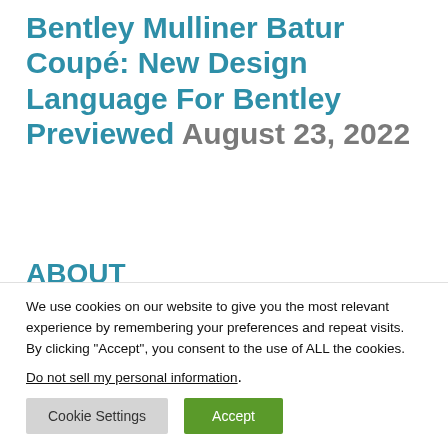Bentley Mulliner Batur Coupé: New Design Language For Bentley Previewed August 23, 2022
ABOUT
CONTACT
SUBMIT
We use cookies on our website to give you the most relevant experience by remembering your preferences and repeat visits. By clicking “Accept”, you consent to the use of ALL the cookies.
Do not sell my personal information.